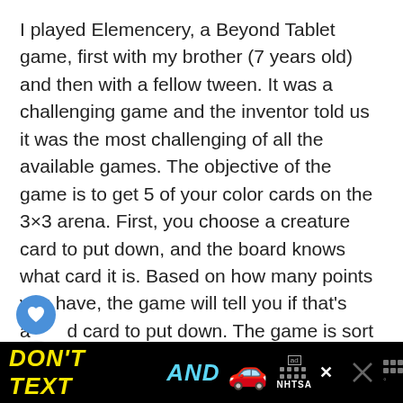I played Elemencery, a Beyond Tablet game, first with my brother (7 years old) and then with a fellow tween. It was a challenging game and the inventor told us it was the most challenging of all the available games. The objective of the game is to get 5 of your color cards on the 3×3 arena. First, you choose a creature card to put down, and the board knows what card it is. Based on how many points you have, the game will tell you if that's a good card to put down. The game is sort of hard to figure out, but we had fun playing it. I haven't ever played anything like it!
[Figure (other): Advertisement banner at bottom: black background with 'DON'T TEXT AND [car emoji]' text in yellow and cyan, ad badge, NHTSA logo, close buttons]